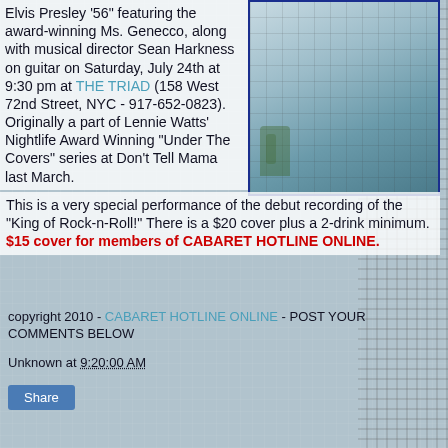Elvis Presley '56" featuring the award-winning Ms. Genecco, along with musical director Sean Harkness on guitar on Saturday, July 24th at 9:30 pm at THE TRIAD (158 West 72nd Street, NYC - 917-652-0823). Originally a part of Lennie Watts' Nightlife Award Winning "Under The Covers" series at Don't Tell Mama last March. This is a very special performance of the debut recording of the "King of Rock-n-Roll!" There is a $20 cover plus a 2-drink minimum. $15 cover for members of CABARET HOTLINE ONLINE.
[Figure (photo): Aerial or elevated photo of a street/building scene with palm trees, viewed from above, framed with a dark blue border.]
copyright 2010 - CABARET HOTLINE ONLINE - POST YOUR COMMENTS BELOW
Unknown at 9:20:00 AM
Share